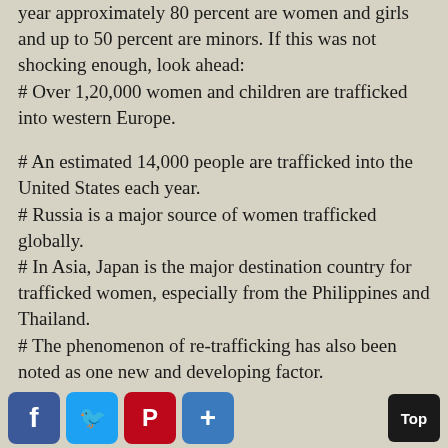year approximately 80 percent are women and girls and up to 50 percent are minors. If this was not shocking enough, look ahead: # Over 1,20,000 women and children are trafficked into western Europe.
# An estimated 14,000 people are trafficked into the United States each year.
# Russia is a major source of women trafficked globally.
# In Asia, Japan is the major destination country for trafficked women, especially from the Philippines and Thailand.
# The phenomenon of re-trafficking has also been noted as one new and developing factor.
# More specifically, trafficking in women for the purpose of sexual exploitation has increased in recent years in parallel to the development of the sex industry.
Organisational Initiatives: Collaboration of Ngos And
Facebook Twitter Pinterest +